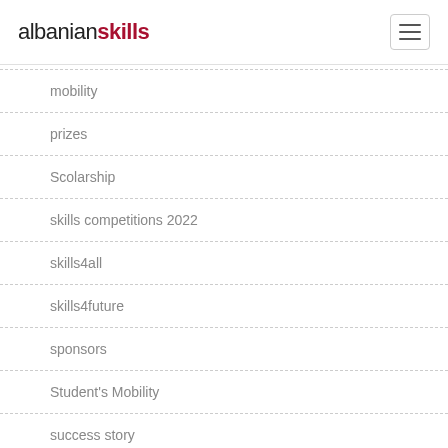albanianskills
mobility
prizes
Scolarship
skills competitions 2022
skills4all
skills4future
sponsors
Student's Mobility
success story